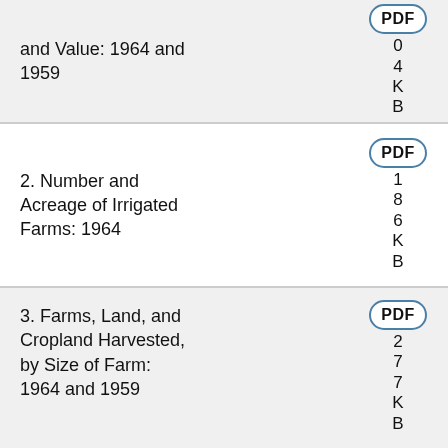and Value: 1964 and 1959 — PDF, 04KB
2. Number and Acreage of Irrigated Farms: 1964 — PDF, 186KB
3. Farms, Land, and Cropland Harvested, by Size of Farm: 1964 and 1959 — PDF, 277KB
4. Farms and Acreage, by Tenure of Operator: 1964 — PDF, 19KB